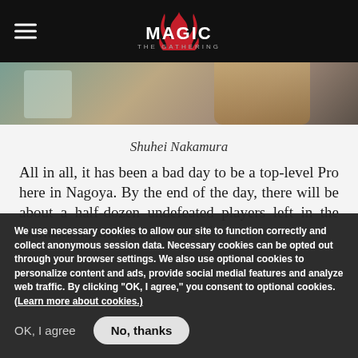Magic: The Gathering
[Figure (photo): Cropped photo of a person at a tournament, likely Shuhei Nakamura]
Shuhei Nakamura
All in all, it has been a bad day to be a top-level Pro here in Nagoya. By the end of the day, there will be about a half-dozen undefeated players left in the tournament, and almost none of
We use necessary cookies to allow our site to function correctly and collect anonymous session data. Necessary cookies can be opted out through your browser settings. We also use optional cookies to personalize content and ads, provide social medial features and analyze web traffic. By clicking “OK, I agree,” you consent to optional cookies. (Learn more about cookies.)